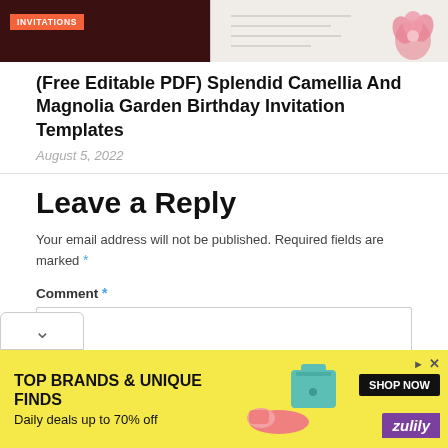[Figure (illustration): Two invitation template preview images side by side — left shows dark maroon background with orange 'INVITATIONS' badge, right shows light background with pink camellia/magnolia flower.]
(Free Editable PDF) Splendid Camellia And Magnolia Garden Birthday Invitation Templates
August 5, 2022
Leave a Reply
Your email address will not be published. Required fields are marked *
Comment *
[Figure (screenshot): Advertisement banner — yellow background with text 'TOP BRANDS & UNIQUE FINDS' and 'Daily deals up to 70% off', featuring shoes and teal bag image, Shop Now button, and Zulily logo.]